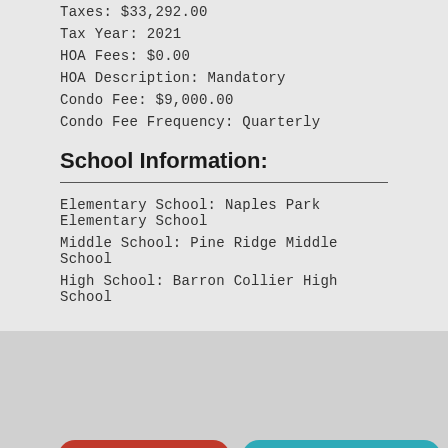Taxes: $33,292.00
Tax Year: 2021
HOA Fees: $0.00
HOA Description: Mandatory
Condo Fee: $9,000.00
Condo Fee Frequency: Quarterly
School Information:
Elementary School: Naples Park Elementary School
Middle School: Pine Ridge Middle School
High School: Barron Collier High School
A one-of-a-kind luxurious beachfront